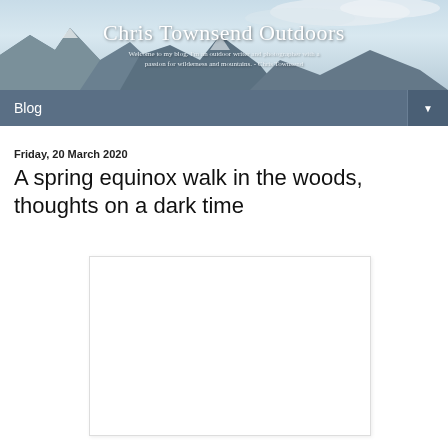Chris Townsend Outdoors — Welcome to my blog. I'm an outdoor writer and photographer with a passion for wilderness and mountains. - Chris Townsend
Blog
Friday, 20 March 2020
A spring equinox walk in the woods, thoughts on a dark time
[Figure (photo): Blank/white image placeholder for a blog post photo]